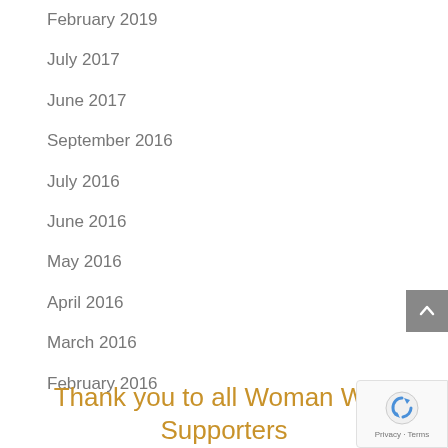February 2019
July 2017
June 2017
September 2016
July 2016
June 2016
May 2016
April 2016
March 2016
February 2016
Thank you to all Woman Who Supporters